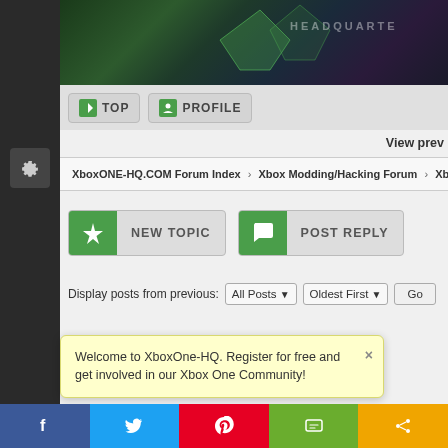[Figure (screenshot): Top decorative banner image with dark green/purple game-themed background and partial text 'HEADQUARTER']
TOP   PROFILE
View prev
XboxONE-HQ.COM Forum Index > Xbox Modding/Hacking Forum > Xbox C
[Figure (screenshot): NEW TOPIC button with green pin icon]
[Figure (screenshot): POST REPLY button with green speech bubble icon]
Display posts from previous: All Posts ▼   Oldest First ▼   Go
All times are GMT | Page 1 of 1
Welcome to XboxOne-HQ. Register for free and get involved in our Xbox One Community!